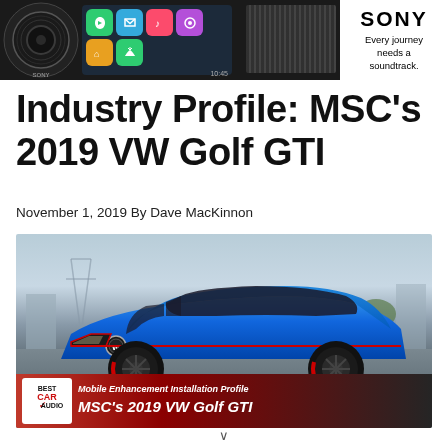[Figure (photo): Sony car audio advertisement banner showing a car stereo with Apple CarPlay display and speaker, with Sony logo and tagline 'Every journey needs a soundtrack.']
Industry Profile: MSC’s 2019 VW Golf GTI
November 1, 2019 By Dave MacKinnon
[Figure (photo): Photo of a blue 2019 Volkswagen Golf GTI in a parking lot, with a Best Car Audio overlay banner at the bottom showing 'Mobile Enhancement Installation Profile' and 'MSC’s 2019 VW Golf GTI']